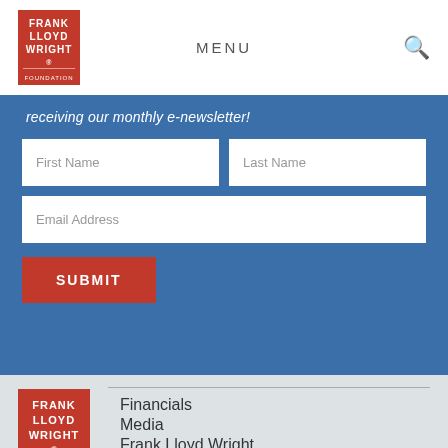MENU
receiving our monthly e-newsletter!
[Figure (screenshot): Website signup form with First Name, Last Name, Email Address fields and a red SUBMIT button on a blue background]
[Figure (logo): Frank Lloyd Wright Foundation logo (red block letters)]
Financials
Media
Frank Lloyd Wright Foundation
Social Media Community